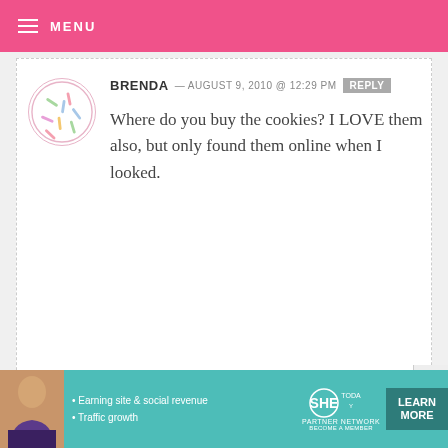MENU
BRENDA — AUGUST 9, 2010 @ 12:29 PM REPLY
Where do you buy the cookies? I LOVE them also, but only found them online when I looked.
MARGARIDA — AUGUST 9, 2010 @ 12:26 PM REPLY
Amazing !!!
[Figure (infographic): SHE Partner Network advertisement banner with woman photo, bullet points about earning site & social revenue and traffic growth, logo, and LEARN MORE button]